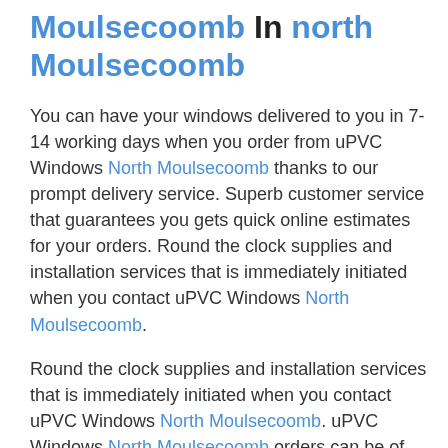Moulsecoomb In north Moulsecoomb
You can have your windows delivered to you in 7-14 working days when you order from uPVC Windows North Moulsecoomb thanks to our prompt delivery service. Superb customer service that guarantees you gets quick online estimates for your orders. Round the clock supplies and installation services that is immediately initiated when you contact uPVC Windows North Moulsecoomb.
Round the clock supplies and installation services that is immediately initiated when you contact uPVC Windows North Moulsecoomb. uPVC Windows North Moulsecoomb orders can be of any number that will serve your purposes.